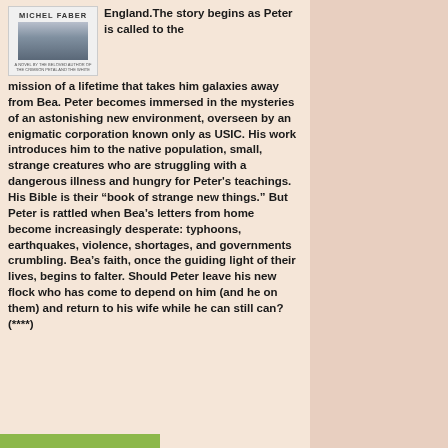[Figure (illustration): Book cover for Michel Faber with author name at top and dark atmospheric image below]
England.The story begins as Peter is called to the mission of a lifetime that takes him galaxies away from Bea. Peter becomes immersed in the mysteries of an astonishing new environment, overseen by an enigmatic corporation known only as USIC. His work introduces him to the native population, small, strange creatures who are struggling with a dangerous illness and hungry for Peter's teachings. His Bible is their “book of strange new things.” But Peter is rattled when Bea’s letters from home become increasingly desperate: typhoons, earthquakes, violence, shortages, and governments crumbling. Bea’s faith, once the guiding light of their lives, begins to falter. Should Peter leave his new flock who has come to depend on him (and he on them) and return to his wife while he can still can? (****)